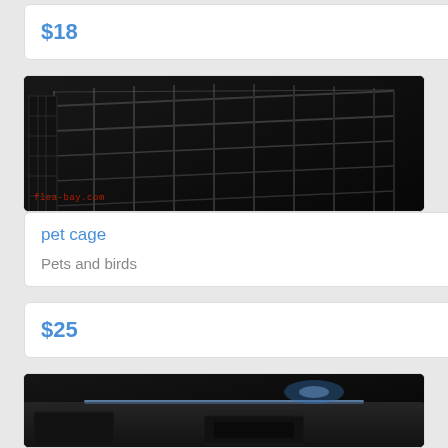$18
[Figure (photo): Dark photo of a wire/metal pet cage viewed from above at an angle, with a watermark reading 'flea-bay.com' in red text at the bottom left]
pet cage
Pets and birds
$25
[Figure (photo): Dark close-up photo of a car interior dashboard or door panel with a blue light reflection]